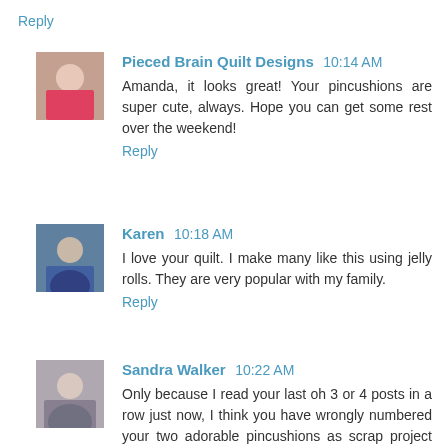Reply
Pieced Brain Quilt Designs  10:14 AM
Amanda, it looks great! Your pincushions are super cute, always. Hope you can get some rest over the weekend!
Reply
Karen  10:18 AM
I love your quilt. I make many like this using jelly rolls. They are very popular with my family.
Reply
Sandra Walker  10:22 AM
Only because I read your last oh 3 or 4 posts in a row just now, I think you have wrongly numbered your two adorable pincushions as scrap project #188. They should be #189 because your threadcatcher made with scraps from that